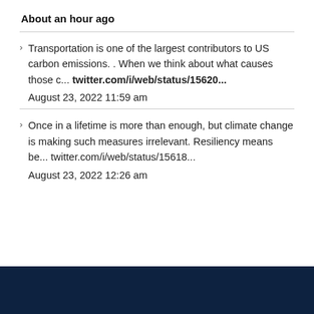About an hour ago
Transportation is one of the largest contributors to US carbon emissions. . When we think about what causes those c... twitter.com/i/web/status/15620...

August 23, 2022 11:59 am
Once in a lifetime is more than enough, but climate change is making such measures irrelevant. Resiliency means be... twitter.com/i/web/status/15618...

August 23, 2022 12:26 am